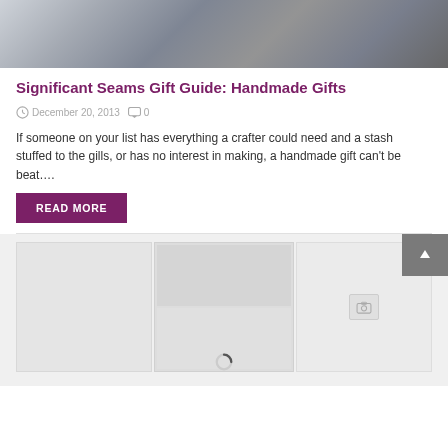[Figure (photo): Top portion of a blog post image showing colorful fabric items and craft projects, partially visible]
Significant Seams Gift Guide: Handmade Gifts
December 20, 2013   0
If someone on your list has everything a crafter could need and a stash stuffed to the gills, or has no interest in making, a handmade gift can't be beat….
READ MORE
[Figure (screenshot): Partially loaded blog post preview section with gray placeholder image tiles and a loading spinner]